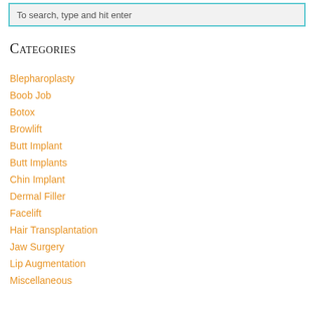To search, type and hit enter
Categories
Blepharoplasty
Boob Job
Botox
Browlift
Butt Implant
Butt Implants
Chin Implant
Dermal Filler
Facelift
Hair Transplantation
Jaw Surgery
Lip Augmentation
Miscellaneous